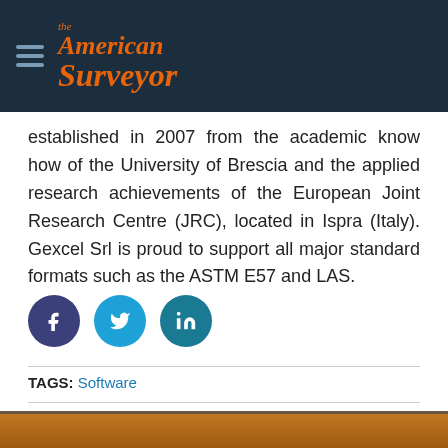The American Surveyor
established in 2007 from the academic know how of the University of Brescia and the applied research achievements of the European Joint Research Centre (JRC), located in Ispra (Italy). Gexcel Srl is proud to support all major standard formats such as the ASTM E57 and LAS.
[Figure (other): Social media share icons: Facebook (dark blue circle with 'f'), Twitter (cyan circle with bird icon), LinkedIn (teal circle with 'in')]
TAGS: Software